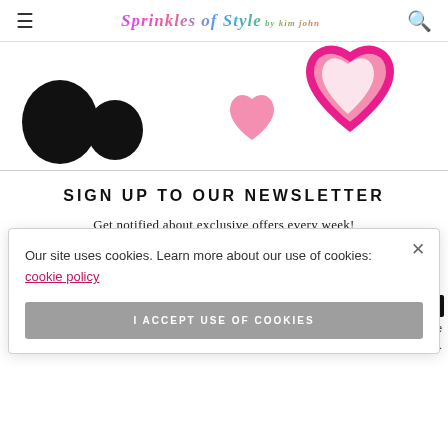Sprinkles of Style
[Figure (illustration): Decorative hearts illustration with pink heart outlines and solid pink hearts on white background, partial black circular shapes visible on left]
SIGN UP TO OUR NEWSLETTER
Get notified about exclusive offers every week!
Our site uses cookies. Learn more about our use of cookies: cookie policy
I ACCEPT USE OF COOKIES
cess to valuable cookies here.